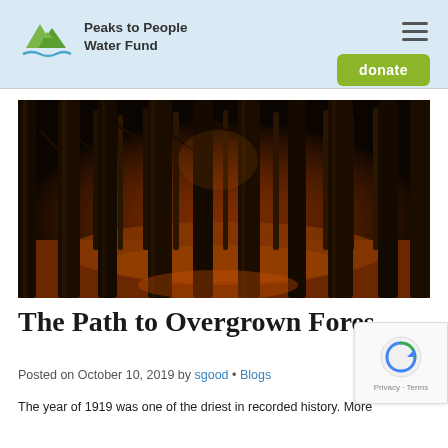Peaks to People Water Fund
[Figure (photo): Dense overgrown forest with tall dark tree trunks and orange-red leaf litter on the ground, dramatic dark lighting.]
The Path to Overgrown Fores...
Posted on October 10, 2019 by sgood • Blogs
The year of 1919 was one of the driest in recorded history. More...